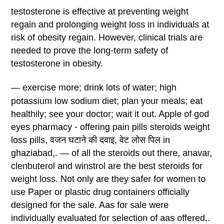testosterone is effective at preventing weight regain and prolonging weight loss in individuals at risk of obesity regain. However, clinical trials are needed to prove the long-term safety of testosterone in obesity.
— exercise more; drink lots of water; high potassium low sodium diet; plan your meals; eat healthily; see your doctor; wait it out. Apple of god eyes pharmacy - offering pain pills steroids weight loss pills, वजन घटाने की दवाइ, वेट लोस पिल in ghaziabad,. — of all the steroids out there, anavar, clenbuterol and winstrol are the best steroids for weight loss. Not only are they safer for women to use Paper or plastic drug containers officially designed for the sale. Aas for sale were individually evaluated for selection of aas offered,. Buy online anabolic steroids and